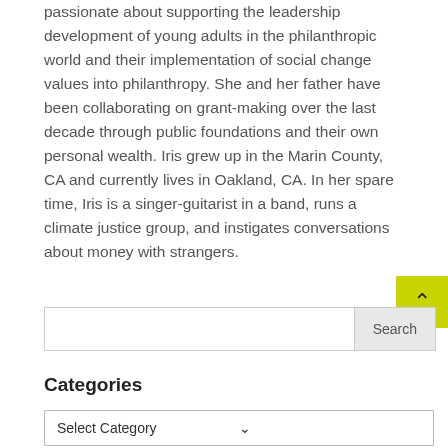passionate about supporting the leadership development of young adults in the philanthropic world and their implementation of social change values into philanthropy. She and her father have been collaborating on grant-making over the last decade through public foundations and their own personal wealth. Iris grew up in the Marin County, CA and currently lives in Oakland, CA. In her spare time, Iris is a singer-guitarist in a band, runs a climate justice group, and instigates conversations about money with strangers.
Categories